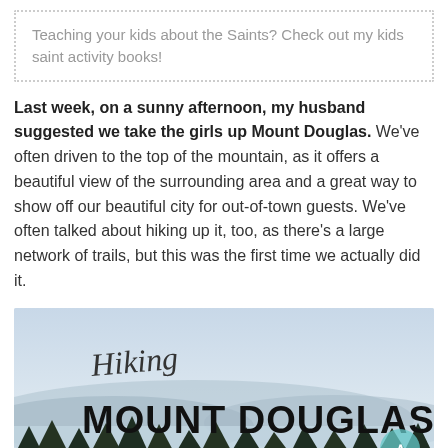Teaching your kids about the Saints? Check out my kids saint activity books!
Last week, on a sunny afternoon, my husband suggested we take the girls up Mount Douglas. We've often driven to the top of the mountain, as it offers a beautiful view of the surrounding area and a great way to show off our beautiful city for out-of-town guests. We've often talked about hiking up it, too, as there's a large network of trails, but this was the first time we actually did it.
[Figure (illustration): Illustrated banner image with script text 'Hiking' and bold block text 'MOUNT DOUGLAS' over a scenic mountain/ocean view with trees in the foreground and misty sky background.]